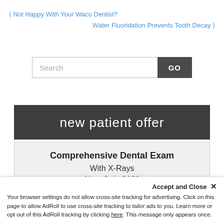< Not Happy With Your Waco Dentist?
Water Fluoridation Prevents Tooth Decay >
Search GO
new patient offer
Comprehensive Dental Exam
With X-Rays
Now Only $189
Call 254-237-9562 Today!
Accept and Close ×
Your browser settings do not allow cross-site tracking for advertising. Click on this page to allow AdRoll to use cross-site tracking to tailor ads to you. Learn more or opt out of this AdRoll tracking by clicking here. This message only appears once.